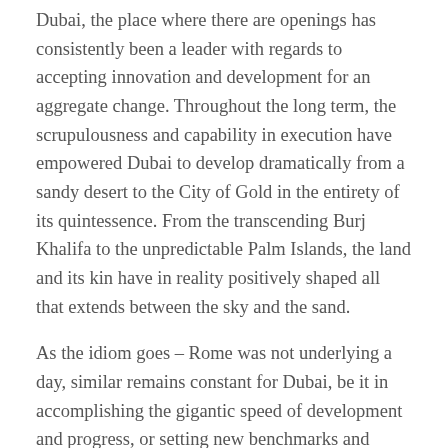Dubai, the place where there are openings has consistently been a leader with regards to accepting innovation and development for an aggregate change. Throughout the long term, the scrupulousness and capability in execution have empowered Dubai to develop dramatically from a sandy desert to the City of Gold in the entirety of its quintessence. From the transcending Burj Khalifa to the unpredictable Palm Islands, the land and its kin have in reality positively shaped all that extends between the sky and the sand.
As the idiom goes – Rome was not underlying a day, similar remains constant for Dubai, be it in accomplishing the gigantic speed of development and progress, or setting new benchmarks and scaling new statutes. It remains as a brilliant illustration of what is conceivable when greatness turns into a habit. At Wisoft, we comprehend the